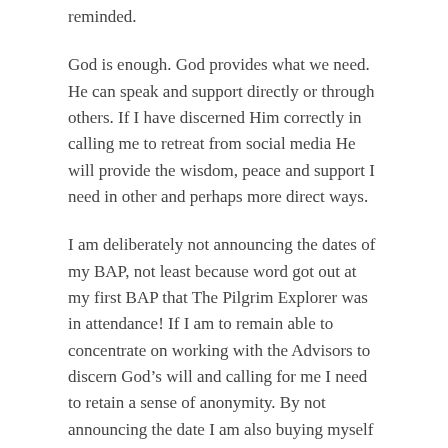reminded.
God is enough. God provides what we need. He can speak and support directly or through others. If I have discerned Him correctly in calling me to retreat from social media He will provide the wisdom, peace and support I need in other and perhaps more direct ways.
I am deliberately not announcing the dates of my BAP, not least because word got out at my first BAP that The Pilgrim Explorer was in attendance! If I am to remain able to concentrate on working with the Advisors to discern God’s will and calling for me I need to retain a sense of anonymity. By not announcing the date I am also buying myself a bit of breathing space after the BAP has ended.